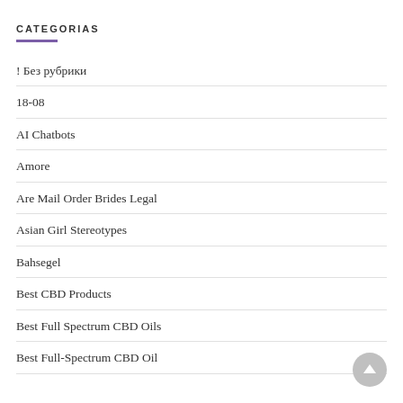CATEGORIAS
! Без рубрики
18-08
AI Chatbots
Amore
Are Mail Order Brides Legal
Asian Girl Stereotypes
Bahsegel
Best CBD Products
Best Full Spectrum CBD Oils
Best Full-Spectrum CBD Oil